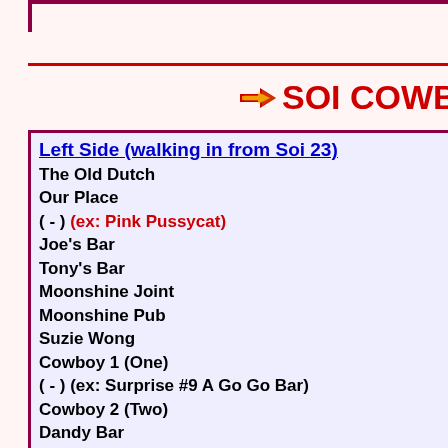SOI COWBOY (SO
Left Side (walking in from Soi 23)
The Old Dutch
Our Place
(    -    ) (ex: Pink Pussycat)
Joe's Bar
Tony's Bar
Moonshine Joint
Moonshine Pub
Suzie Wong
Cowboy 1 (One)
(  -  ) (ex: Surprise #9 A Go Go Bar)
Cowboy 2 (Two)
Dandy Bar
Toy Bar
Long Gun NEW (ex: Lucky Star CLOSED)
Crazy Jack's Shadow (The Shadow)
Darling